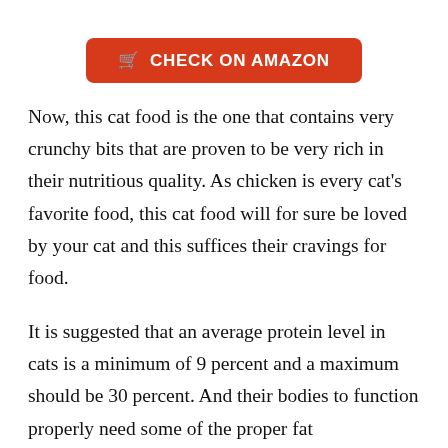[Figure (other): Red rounded rectangle button with shopping cart icon and text CHECK ON AMAZON in white uppercase letters]
Now, this cat food is the one that contains very crunchy bits that are proven to be very rich in their nutritious quality. As chicken is every cat’s favorite food, this cat food will for sure be loved by your cat and this suffices their cravings for food.
It is suggested that an average protein level in cats is a minimum of 9 percent and a maximum should be 30 percent. And their bodies to function properly need some of the proper fat